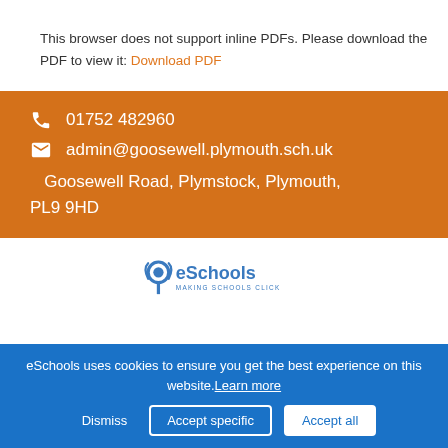This browser does not support inline PDFs. Please download the PDF to view it: Download PDF
01752 482960
admin@goosewell.plymouth.sch.uk
Goosewell Road, Plymstock, Plymouth, PL9 9HD
[Figure (logo): eSchools logo - making schools click]
eSchools uses cookies to ensure you get the best experience on this website. Learn more
Dismiss  Accept specific  Accept all